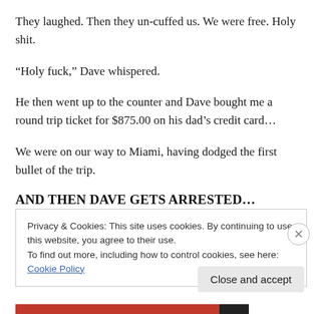They laughed. Then they un-cuffed us. We were free. Holy shit.
“Holy fuck,” Dave whispered.
He then went up to the counter and Dave bought me a round trip ticket for $875.00 on his dad’s credit card…
We were on our way to Miami, having dodged the first bullet of the trip.
AND THEN DAVE GETS ARRESTED…
Privacy & Cookies: This site uses cookies. By continuing to use this website, you agree to their use.
To find out more, including how to control cookies, see here: Cookie Policy
Close and accept